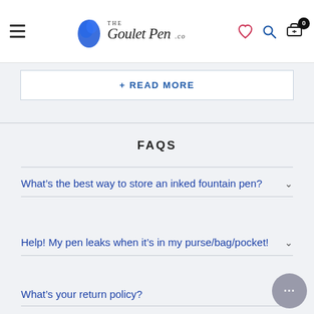The Goulet Pen Co. — navigation header with hamburger menu, logo, heart icon, search icon, cart with 0 items
+ READ MORE
FAQS
What’s the best way to store an inked fountain pen?
Help! My pen leaks when it’s in my purse/bag/pocket!
What's your return policy?